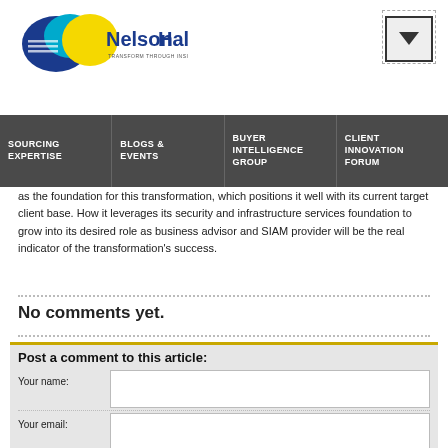[Figure (logo): NelsonHall logo with blue and yellow circular design and tagline 'TRANSFORM THROUGH INSIGHT']
SOURCING EXPERTISE | BLOGS & EVENTS | BUYER INTELLIGENCE GROUP | CLIENT INNOVATION FORUM
as the foundation for this transformation, which positions it well with its current target client base. How it leverages its security and infrastructure services foundation to grow into its desired role as business advisor and SIAM provider will be the real indicator of the transformation's success.
No comments yet.
Post a comment to this article:
Your name:
Your email:
Your comment: